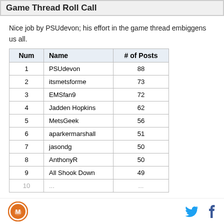Game Thread Roll Call
Nice job by PSUdevon; his effort in the game thread embiggens us all.
| Num | Name | # of Posts |
| --- | --- | --- |
| 1 | PSUdevon | 88 |
| 2 | itsmetsforme | 73 |
| 3 | EMSfan9 | 72 |
| 4 | Jadden Hopkins | 62 |
| 5 | MetsGeek | 56 |
| 6 | aparkermarshall | 51 |
| 7 | jasondg | 50 |
| 8 | AnthonyR | 50 |
| 9 | All Shook Down | 49 |
| 10 | ... | ... |
Logo | Twitter | Facebook